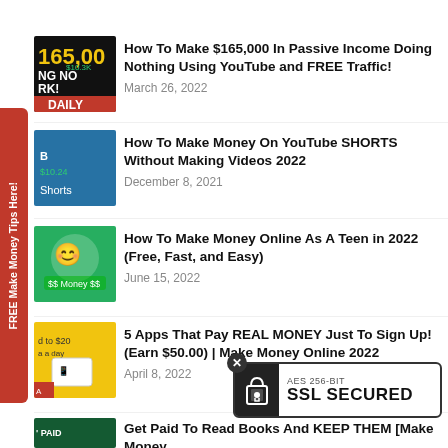[Figure (screenshot): Thumbnail for article about making $165,000 in passive income]
How To Make $165,000 In Passive Income Doing Nothing Using YouTube and FREE Traffic!
March 26, 2022
[Figure (screenshot): Thumbnail for article about making money on YouTube Shorts without making videos]
How To Make Money On YouTube SHORTS Without Making Videos 2022
December 8, 2021
[Figure (screenshot): Thumbnail for article about making money online as a teen]
How To Make Money Online As A Teen in 2022 (Free, Fast, and Easy)
June 15, 2022
[Figure (screenshot): Thumbnail for article about 5 apps that pay real money]
5 Apps That Pay REAL MONEY Just To Sign Up! (Earn $50.00) | Make Money Online 2022
April 8, 2022
[Figure (screenshot): Thumbnail for article about getting paid to read books]
Get Paid To Read Books And KEEP THEM [Make Money
[Figure (other): AES 256-BIT SSL SECURED badge with padlock icon]